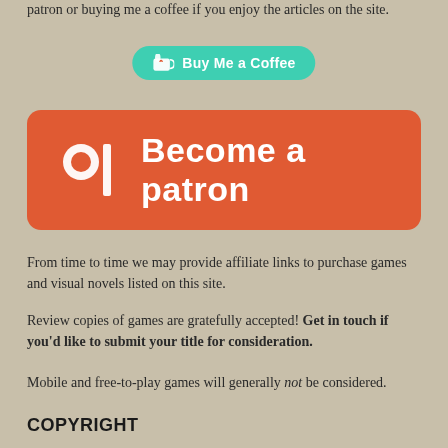patron or buying me a coffee if you enjoy the articles on the site.
[Figure (other): Buy Me a Coffee button — teal rounded pill button with coffee cup icon and text 'Buy Me a Coffee']
[Figure (other): Patreon 'Become a patron' button — large orange/red rounded rectangle with Patreon logo and bold white text 'Become a patron']
From time to time we may provide affiliate links to purchase games and visual novels listed on this site.
Review copies of games are gratefully accepted! Get in touch if you'd like to submit your title for consideration.
Mobile and free-to-play games will generally not be considered.
COPYRIGHT